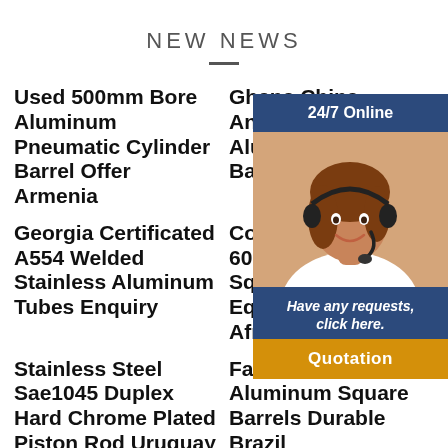NEW NEWS
Used 500mm Bore Aluminum Pneumatic Cylinder Barrel Offer Armenia
Ghana China Anodized S... Aluminum Alloy Barre...
Georgia Certificated A554 Welded Stainless Aluminum Tubes Enquiry
Corrosion R... 6063 T5 Al... Square Bar... Equipment... Africa
Stainless Steel Sae1045 Duplex Hard Chrome Plated Piston Rod Uruguay
Fast Delivery... Aluminum Square Barrels Durable Brazil
[Figure (photo): Customer service representative (woman with headset) with 24/7 Online widget overlay, showing 'Have any requests, click here.' text and a Quotation button]